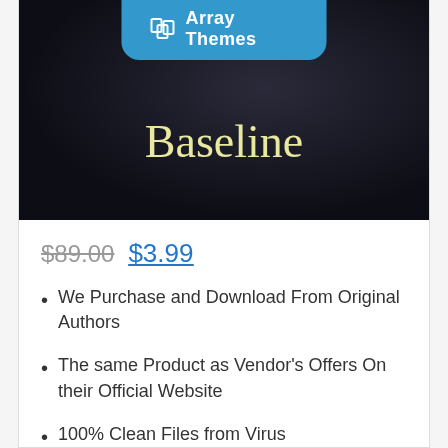[Figure (illustration): Product thumbnail showing 'Baseline' theme by Array Themes. Dark background image with a blue Array Themes badge at top center and 'Baseline' text in yellow-cream serif font in the center.]
$89.00  $3.99
We Purchase and Download From Original Authors
The same Product as Vendor's Offers On their Official Website
100% Clean Files from Virus